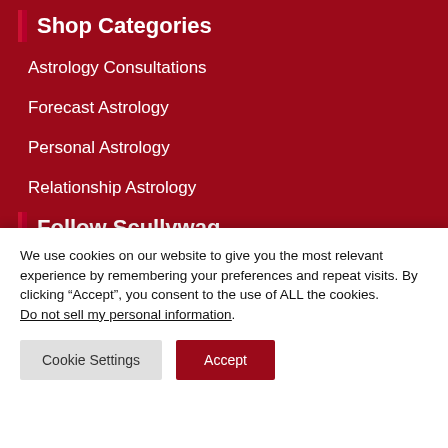Shop Categories
Astrology Consultations
Forecast Astrology
Personal Astrology
Relationship Astrology
Follow Scullywag
We use cookies on our website to give you the most relevant experience by remembering your preferences and repeat visits. By clicking “Accept”, you consent to the use of ALL the cookies. Do not sell my personal information.